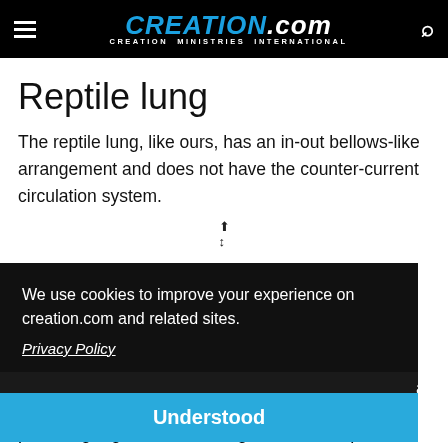CREATION.com - CREATION MINISTRIES INTERNATIONAL
Reptile lung
The reptile lung, like ours, has an in-out bellows-like arrangement and does not have the counter-current circulation system.
[Figure (other): Partially visible image with resize cursor arrow icon shown at top]
We use cookies to improve your experience on creation.com and related sites.
Privacy Policy
Understood
all
providing a greater advantage at each step, defies